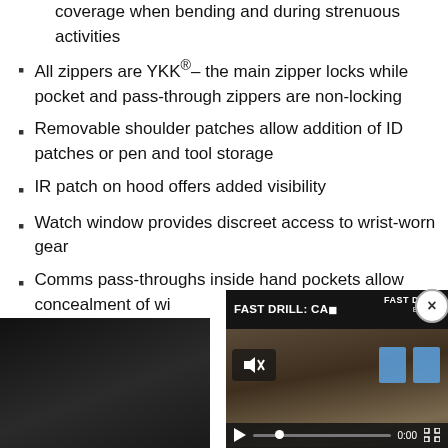coverage when bending and during strenuous activities
All zippers are YKK® – the main zipper locks while pocket and pass-through zippers are non-locking
Removable shoulder patches allow addition of ID patches or pen and tool storage
IR patch on hood offers added visibility
Watch window provides discreet access to wrist-worn gear
Comms pass-throughs inside hand pockets allow concealment of wi...
[Figure (screenshot): Video player overlay showing 'FAST DRILL: CAR...' with play controls, mute button, progress bar at 0:00, and target icons on right side. Close button (x) in top right corner.]